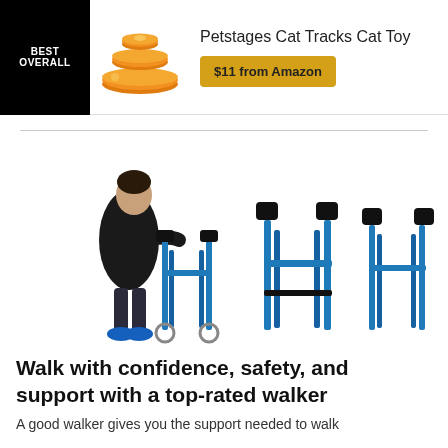[Figure (infographic): Ad banner for Petstages Cat Tracks Cat Toy with orange stacked disc toy image, BEST OVERALL label, and $11 from Amazon button]
[Figure (photo): A person using a blue forearm walker (rollator) next to two standalone blue walkers of different sizes on a white background]
Walk with confidence, safety, and support with a top-rated walker
A good walker gives you the support needed to walk